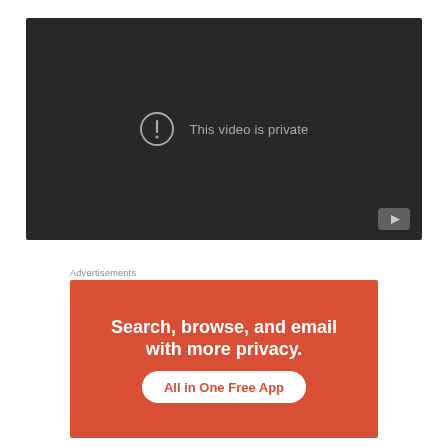[Figure (screenshot): YouTube-style video player with dark background showing 'This video is private' message with an exclamation circle icon, and a YouTube play button logo in the bottom-right corner.]
Advertisements
[Figure (infographic): Orange/red advertisement banner with white bold text 'Search, browse, and email with more privacy.' and a white pill-shaped button with orange text 'All in One Free App']